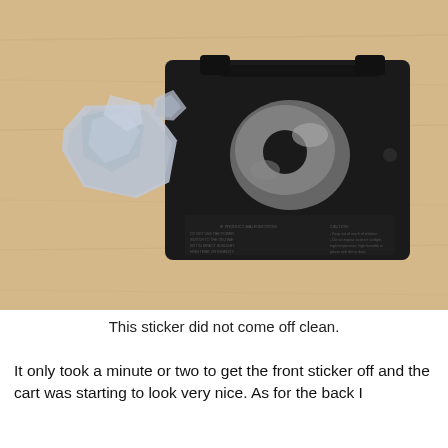[Figure (photo): A black Game Boy Advance cartridge lying on a wooden surface with its back sticker partially peeled off in a messy, torn manner. The metallic sticker residue remains on the cartridge, and the torn sticker pieces are visible to the left.]
This sticker did not come off clean.
It only took a minute or two to get the front sticker off and the cart was starting to look very nice. As for the back I